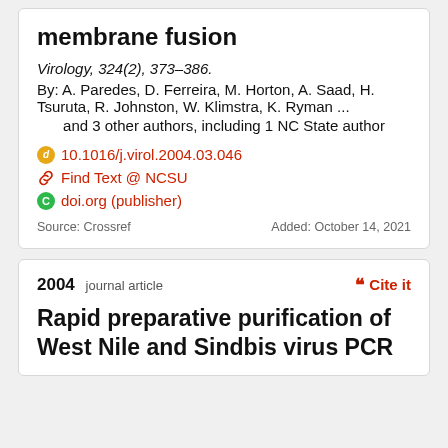membrane fusion
Virology, 324(2), 373–386.
By: A. Paredes, D. Ferreira, M. Horton, A. Saad, H. Tsuruta, R. Johnston, W. Klimstra, K. Ryman ... and 3 other authors, including 1 NC State author
10.1016/j.virol.2004.03.046
Find Text @ NCSU
doi.org (publisher)
Source: Crossref    Added: October 14, 2021
2004 journal article
Rapid preparative purification of West Nile and Sindbis virus PCR